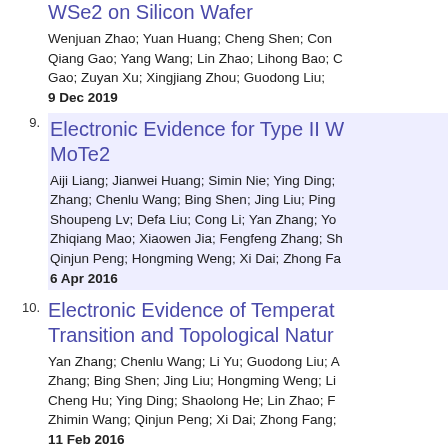WSe2 on Silicon Wafer
Wenjuan Zhao; Yuan Huang; Cheng Shen; Cong Qiang Gao; Yang Wang; Lin Zhao; Lihong Bao; Gao; Zuyan Xu; Xingjiang Zhou; Guodong Liu;
9 Dec 2019
9. Electronic Evidence for Type II W MoTe2
Aiji Liang; Jianwei Huang; Simin Nie; Ying Ding; Zhang; Chenlu Wang; Bing Shen; Jing Liu; Ping Shoupeng Lv; Defa Liu; Cong Li; Yan Zhang; Yo Zhiqiang Mao; Xiaowen Jia; Fengfeng Zhang; Sh Qinjun Peng; Hongming Weng; Xi Dai; Zhong Fa
6 Apr 2016
10. Electronic Evidence of Temperat Transition and Topological Natur
Yan Zhang; Chenlu Wang; Li Yu; Guodong Liu; A Zhang; Bing Shen; Jing Liu; Hongming Weng; Li Cheng Hu; Ying Ding; Shaolong He; Lin Zhao; F Zhimin Wang; Qinjun Peng; Xi Dai; Zhong Fang;
11 Feb 2016
11. Common Electronic Origin of Su (Li Fe)OHFeSe Bulk Supercon